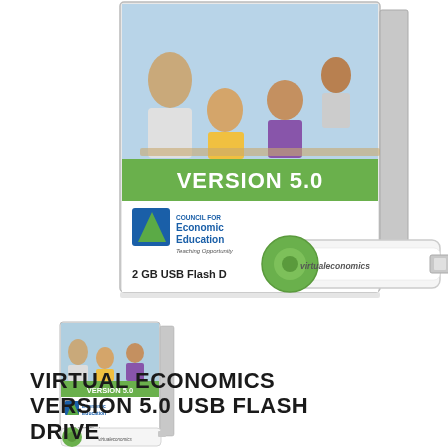[Figure (illustration): Large product image showing Virtual Economics Version 5.0 software box with a USB flash drive. The box features a classroom photo with teacher and students, a green banner reading VERSION 5.0, the Council for Economic Education logo, and text '2 GB USB Flash D[rive]'. A green and white USB drive labeled 'virtualeconomics' is shown in front of the box.]
[Figure (illustration): Small thumbnail image of the same Virtual Economics Version 5.0 product box with USB flash drive, shown at reduced scale.]
VIRTUAL ECONOMICS VERSION 5.0 USB FLASH DRIVE